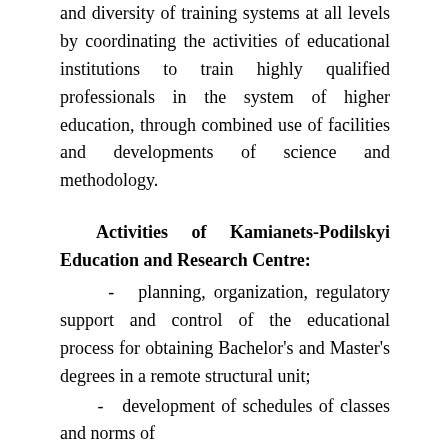and diversity of training systems at all levels by coordinating the activities of educational institutions to train highly qualified professionals in the system of higher education, through combined use of facilities and developments of science and methodology.
Activities of Kamianets-Podilskyi Education and Research Centre:
- planning, organization, regulatory support and control of the educational process for obtaining Bachelor's and Master's degrees in a remote structural unit;
- development of schedules of classes and norms of